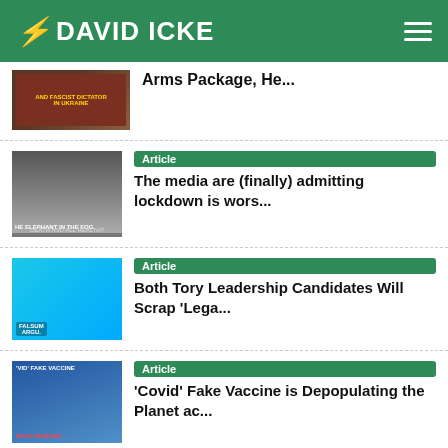DAVID ICKE
Arms Package, He...
Article — The media are (finally) admitting lockdown is wors...
Article — Both Tory Leadership Candidates Will Scrap 'Lega...
Article — 'Covid' Fake Vaccine is Depopulating the Planet ac...
Article — Do you know how many people have been killed world...